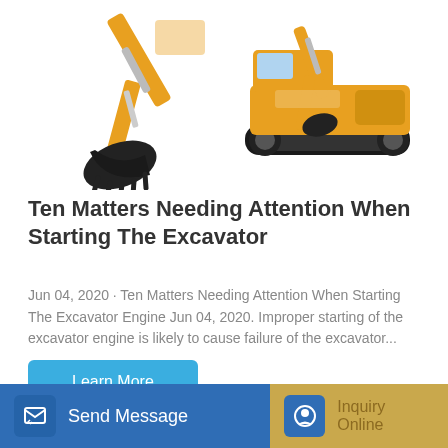[Figure (photo): Two excavators on white background — left showing close-up of the bucket/arm, right showing a full yellow excavator on tracks.]
Ten Matters Needing Attention When Starting The Excavator
Jun 04, 2020 · Ten Matters Needing Attention When Starting The Excavator Engine Jun 04, 2020. Improper starting of the excavator engine is likely to cause failure of the excavator...
Learn More
Send Message   Inquiry Online